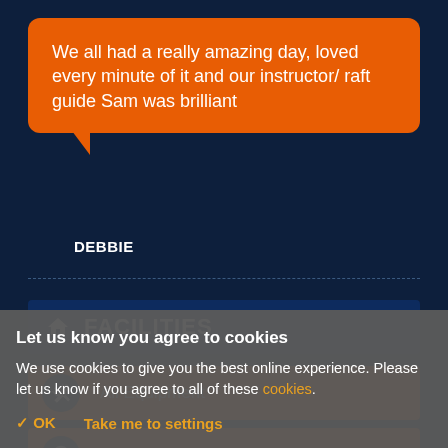We all had a really amazing day, loved every minute of it and our instructor/ raft guide Sam was brilliant
DEBBIE
FACILITIES
All Equipment
Parking
Let us know you agree to cookies
We use cookies to give you the best online experience. Please let us know if you agree to all of these cookies.
✓ OK   Take me to settings